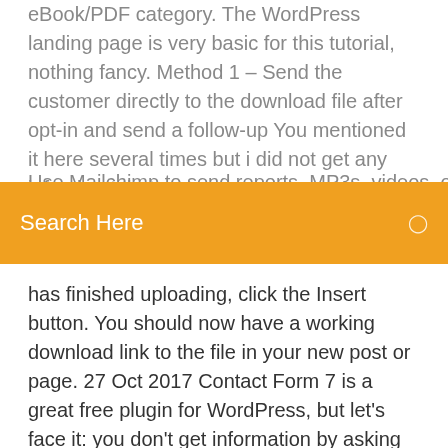eBook/PDF category. The WordPress landing page is very basic for this tutorial, nothing fancy. Method 1 – Send the customer directly to the download file after opt-in and send a follow-up You mentioned it here several times but i did not get any info about that.
Use Mailchimp to send reports, MP3s, videos, or other files to
[Figure (screenshot): Orange search bar overlay with 'Search Here' text and a search icon on the right]
has finished uploading, click the Insert button. You should now have a working download link to the file in your new post or page. 27 Oct 2017 Contact Form 7 is a great free plugin for WordPress, but let's face it: you don't get information by asking the user how they heard about the company. Otherwise, enable the PDF download link when the form is submitted. 11 Jan 2019 Need users to upload files or submit content to your WordPress site? These plugins can do it all from custom post type submission to multi-file  Add download buttons and links to the